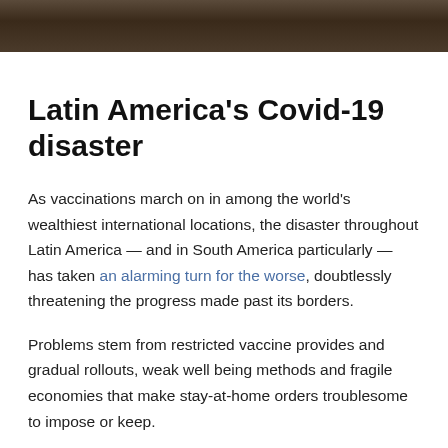[Figure (photo): Dark brown textured photo strip at the top of the page, resembling earth or rock surface.]
Latin America's Covid-19 disaster
As vaccinations march on in among the world's wealthiest international locations, the disaster throughout Latin America — and in South America particularly — has taken an alarming turn for the worse, doubtlessly threatening the progress made past its borders.
Problems stem from restricted vaccine provides and gradual rollouts, weak well being methods and fragile economies that make stay-at-home orders troublesome to impose or keep.